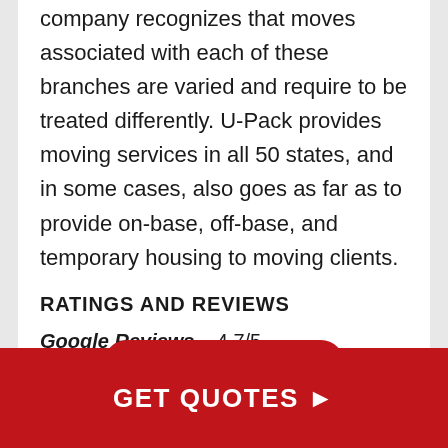company recognizes that moves associated with each of these branches are varied and require to be treated differently. U-Pack provides moving services in all 50 states, and in some cases, also goes as far as to provide on-base, off-base, and temporary housing to moving clients.
RATINGS AND REVIEWS
Google Reviews – 4.7/5